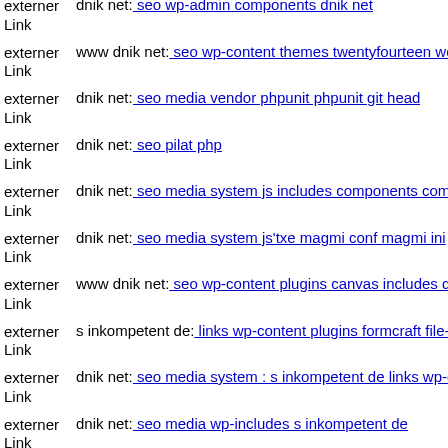externer Link dnik net: seo wp-admin components dnik net
externer Link www dnik net: seo wp-content themes twentyfourteen web
externer Link dnik net: seo media vendor phpunit phpunit git head
externer Link dnik net: seo pilat php
externer Link dnik net: seo media system js includes components com hd
externer Link dnik net: seo media system js'txe magmi conf magmi ini
externer Link www dnik net: seo wp-content plugins canvas includes dni
externer Link s inkompetent de: links wp-content plugins formcraft file-u
externer Link dnik net: seo media system : s inkompetent de links wp-com
externer Link dnik net: seo media wp-includes s inkompetent de
externer Link dnik net: seo wp-content themes itheme2 uploads dnik net
externer Link dnik net: seo js webforms upload magmi web dnik net